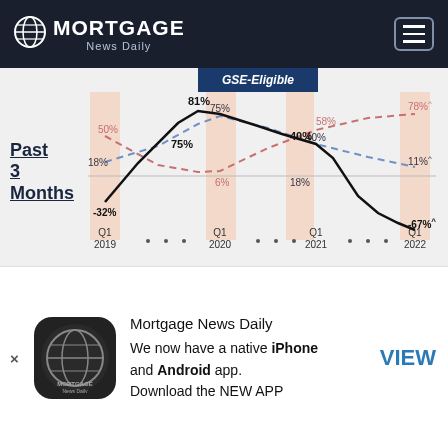MORTGAGE News Daily
[Figure (line-chart): GSE-Eligible]
Past 3 Months
[Figure (logo): Mortgage News Daily app logo - globe icon on dark background]
Mortgage News Daily
We now have a native iPhone and Android app.
Download the NEW APP
VIEW